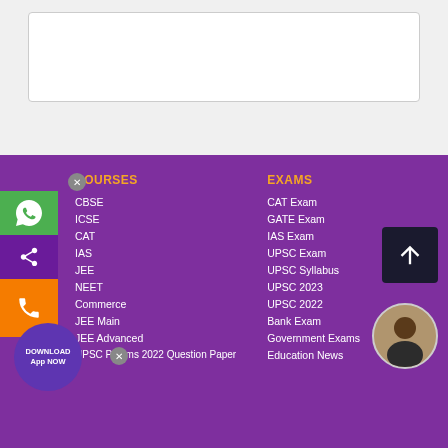[Figure (screenshot): White content area with bordered box at top]
COURSES
CBSE
ICSE
CAT
IAS
JEE
NEET
Commerce
JEE Main
JEE Advanced
UPSC Prelims 2022 Question Paper
EXAMS
CAT Exam
GATE Exam
IAS Exam
UPSC Exam
UPSC Syllabus
UPSC 2023
UPSC 2022
Bank Exam
Government Exams
Education News